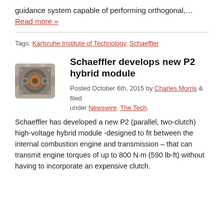guidance system capable of performing orthogonal,… Read more »
Tags: Karlsruhe Institute of Technology, Schaeffler
Schaeffler develops new P2 hybrid module
Posted October 6th, 2015 by Charles Morris & filed under Newswire, The Tech.
[Figure (photo): Photo of a Schaeffler P2 hybrid module mechanical component]
Schaeffler has developed a new P2 (parallel, two-clutch) high-voltage hybrid module -designed to fit between the internal combustion engine and transmission – that can transmit engine torques of up to 800 N·m (590 lb-ft) without having to incorporate an expensive clutch.